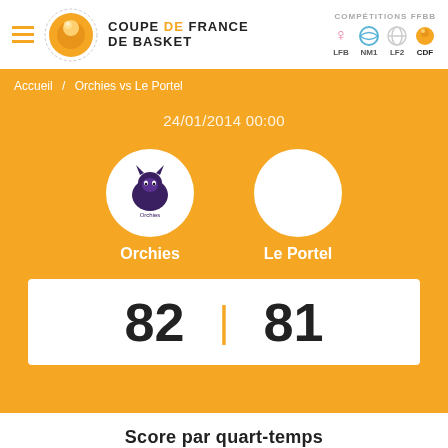COUPE DE FRANCE DE BASKET — COMPÉTITIONS FFBB — LFB NM1 LF2 CDF
Accueil / Orchies vs Le Portel
24/01/2014 00:00
[Figure (logo): Orchies team logo: BC Orchies with panther mascot]
[Figure (logo): Le Portel team logo: plain white circle (no logo)]
Orchies
Le Portel
82 | 81
Score par quart-temps